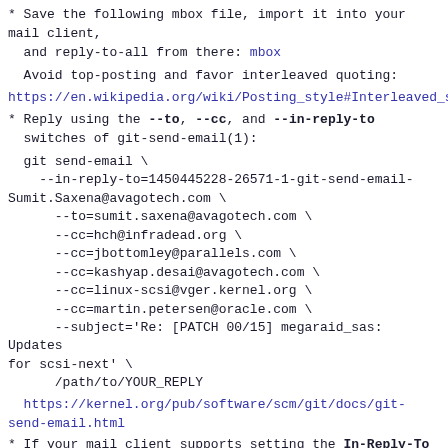* Save the following mbox file, import it into your mail client,
  and reply-to-all from there: mbox
Avoid top-posting and favor interleaved quoting:
https://en.wikipedia.org/wiki/Posting_style#Interleaved_s
* Reply using the --to, --cc, and --in-reply-to switches of git-send-email(1):
git send-email \
    --in-reply-to=1450445228-26571-1-git-send-email-Sumit.Saxena@avagotech.com \
    --to=sumit.saxena@avagotech.com \
    --cc=hch@infradead.org \
    --cc=jbottomley@parallels.com \
    --cc=kashyap.desai@avagotech.com \
    --cc=linux-scsi@vger.kernel.org \
    --cc=martin.petersen@oracle.com \
    --subject='Re: [PATCH 00/15] megaraid_sas: Updates for scsi-next' \
    /path/to/YOUR_REPLY
https://kernel.org/pub/software/scm/git/docs/git-send-email.html
* If your mail client supports setting the In-Reply-To header